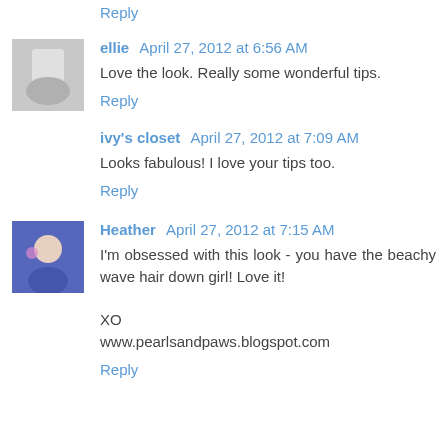Reply
ellie  April 27, 2012 at 6:56 AM
Love the look. Really some wonderful tips.
Reply
ivy's closet  April 27, 2012 at 7:09 AM
Looks fabulous! I love your tips too.
Reply
Heather  April 27, 2012 at 7:15 AM
I'm obsessed with this look - you have the beachy wave hair down girl! Love it!

XO
www.pearlsandpaws.blogspot.com
Reply